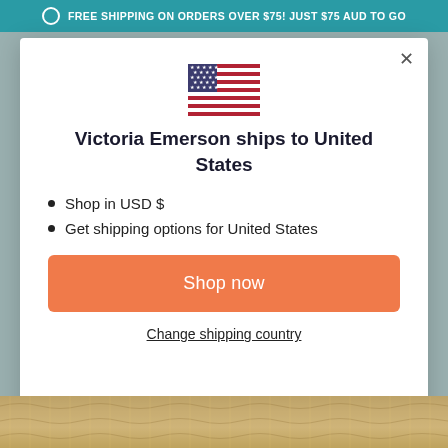FREE SHIPPING ON ORDERS OVER $75! JUST $75 AUD TO GO
[Figure (illustration): United States flag emoji/icon]
Victoria Emerson ships to United States
Shop in USD $
Get shipping options for United States
Shop now
Change shipping country